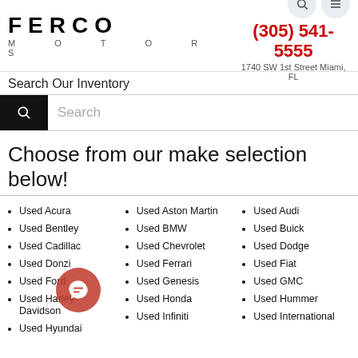[Figure (logo): Ferco Motors logo with stylized bold FERCO text and MOTORS subtitle]
(305) 541-5555
1740 SW 1st Street Miami, FL
Search Our Inventory
Search
Choose from our make selection below!
Used Acura
Used Bentley
Used Cadillac
Used Donzi
Used Ford
Used Harley-Davidson
Used Hyundai
Used Aston Martin
Used BMW
Used Chevrolet
Used Ferrari
Used Genesis
Used Honda
Used Infiniti
Used Audi
Used Buick
Used Dodge
Used Fiat
Used GMC
Used Hummer
Used International